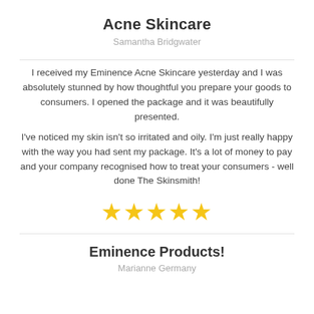Acne Skincare
Samantha Bridgwater
I received my Eminence Acne Skincare yesterday and I was absolutely stunned by how thoughtful you prepare your goods to consumers. I opened the package and it was beautifully presented.
I've noticed my skin isn't so irritated and oily. I'm just really happy with the way you had sent my package. It's a lot of money to pay and your company recognised how to treat your consumers - well done The Skinsmith!
[Figure (other): Five gold star rating icons]
Eminence Products!
Marianne Germany